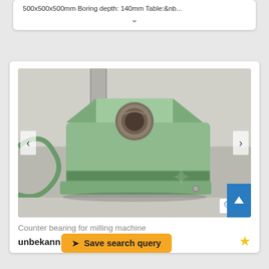500x500x500mm Boring depth: 140mm Table:&nb...
[Figure (photo): Counter bearing for milling machine - green painted cast iron bearing block with circular bore, photographed on gray surface]
Counter bearing for milling machine
unbekann...
Save search query